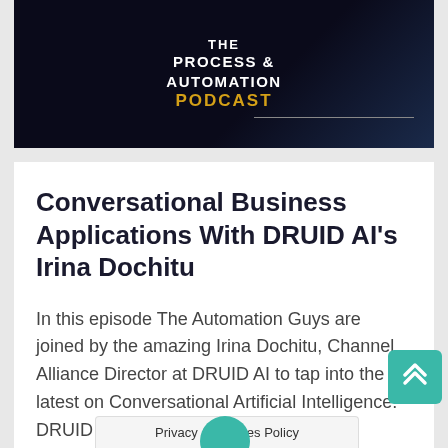[Figure (logo): Dark header banner with 'THE PROCESS & AUTOMATION PODCAST' text in white and gold, with a decorative horizontal line]
Conversational Business Applications With DRUID AI's Irina Dochitu
In this episode The Automation Guys are joined by the amazing Irina Dochitu, Channel Alliance Director at DRUID AI to tap into the latest on Conversational Artificial Intelligence. DRUID AI is an AI-driven, no-code,...
[Figure (illustration): Social media share icons: Facebook (f) and Twitter bird icons]
Privacy & Cookies Policy